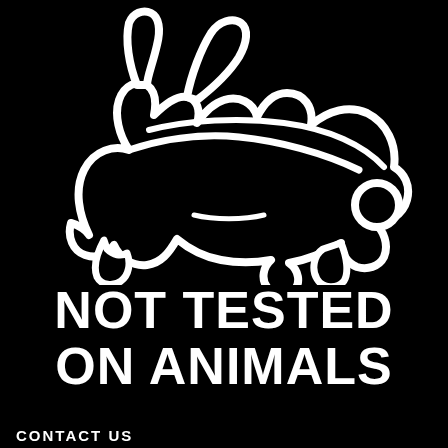[Figure (logo): Leaping rabbit outline logo — 'Not Tested on Animals' / cruelty-free bunny symbol. White outline of a running rabbit on black background.]
NOT TESTED ON ANIMALS
CONTACT US